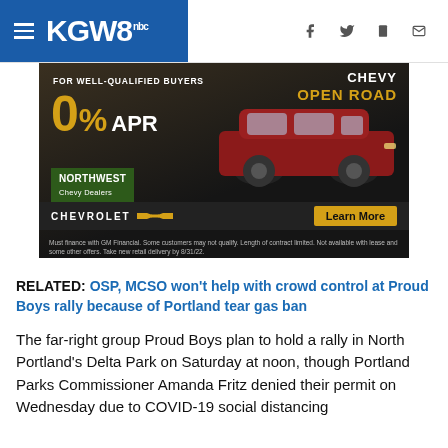KGW8
[Figure (photo): Chevrolet advertisement showing a red SUV with '0% APR for well-qualified buyers', 'Chevy Open Road', Northwest Chevy Dealers logo, Chevrolet bowtie logo, and a 'Learn More' button. Disclaimer: Must finance with GM Financial. Some customers may not qualify. Length of contract limited. Not available with lease and some other offers. Take new retail delivery by 8/31/22.]
RELATED: OSP, MCSO won't help with crowd control at Proud Boys rally because of Portland tear gas ban
The far-right group Proud Boys plan to hold a rally in North Portland's Delta Park on Saturday at noon, though Portland Parks Commissioner Amanda Fritz denied their permit on Wednesday due to COVID-19 social distancing